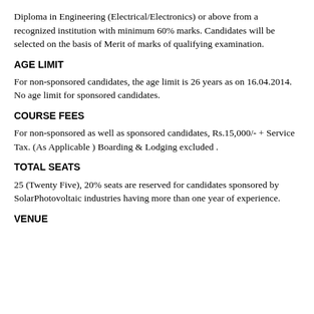Diploma in Engineering (Electrical/Electronics) or above from a recognized institution with minimum 60% marks. Candidates will be selected on the basis of Merit of marks of qualifying examination.
AGE LIMIT
For non-sponsored candidates, the age limit is 26 years as on 16.04.2014. No age limit for sponsored candidates.
COURSE FEES
For non-sponsored as well as sponsored candidates, Rs.15,000/- + Service Tax. (As Applicable ) Boarding & Lodging excluded .
TOTAL SEATS
25 (Twenty Five), 20% seats are reserved for candidates sponsored by SolarPhotovoltaic industries having more than one year of experience.
VENUE